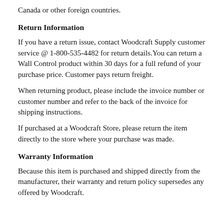Canada or other foreign countries.
Return Information
If you have a return issue, contact Woodcraft Supply customer service @ 1-800-535-4482 for return details.You can return a Wall Control product within 30 days for a full refund of your purchase price. Customer pays return freight.
When returning product, please include the invoice number or customer number and refer to the back of the invoice for shipping instructions.
If purchased at a Woodcraft Store, please return the item directly to the store where your purchase was made.
Warranty Information
Because this item is purchased and shipped directly from the manufacturer, their warranty and return policy supersedes any offered by Woodcraft.